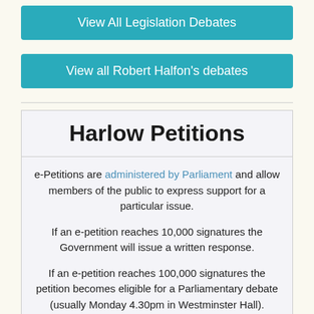View All Legislation Debates
View all Robert Halfon's debates
Harlow Petitions
e-Petitions are administered by Parliament and allow members of the public to express support for a particular issue.
If an e-petition reaches 10,000 signatures the Government will issue a written response.
If an e-petition reaches 100,000 signatures the petition becomes eligible for a Parliamentary debate (usually Monday 4.30pm in Westminster Hall).